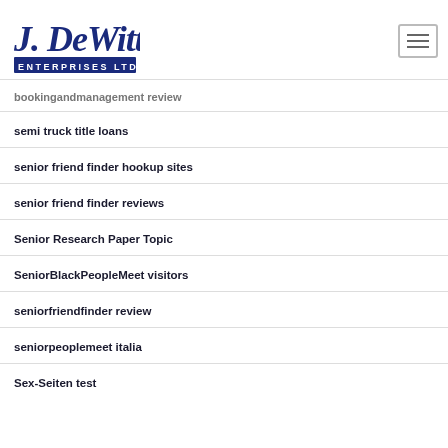[Figure (logo): J. DeWitt Enterprises Ltd logo — script lettering in dark navy blue with 'ENTERPRISES LTD' in block letters on a dark blue banner]
bookingandmanagement review
semi truck title loans
senior friend finder hookup sites
senior friend finder reviews
Senior Research Paper Topic
SeniorBlackPeopleMeet visitors
seniorfriendfinder review
seniorpeoplemeet italia
Sex-Seiten test